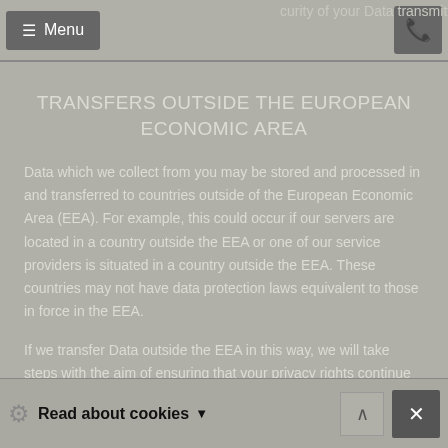not entirely secure and is done at your own risk. we cannot ... curity of your Data transmitted to the Webs...
TRANSFERS OUTSIDE THE EUROPEAN ECONOMIC AREA
Data which we collect from you may be stored and processed in and transferred to countries outside of the European Economic Area (EEA). For example, this could occur if our servers are located in a country outside the EEA or one of our service providers is situated in a country outside the EEA. These countries may not have data protection laws equivalent to those in force in the EEA.
If we transfer Data outside the EEA in this way, we will take steps with the aim of ensuring that your privacy rights continue to be protected as outlined in this priv... expressly agree to such transfers of Data.
Read about cookies  ✕